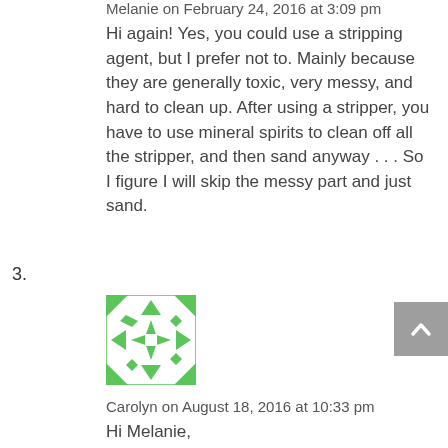Melanie on February 24, 2016 at 3:09 pm
Hi again! Yes, you could use a stripping agent, but I prefer not to. Mainly because they are generally toxic, very messy, and hard to clean up. After using a stripper, you have to use mineral spirits to clean off all the stripper, and then sand anyway . . . So I figure I will skip the messy part and just sand.
3.
[Figure (illustration): Green and white decorative avatar with geometric quilt-like pattern]
Carolyn on August 18, 2016 at 10:33 pm
Hi Melanie,
Love the blog and I too look at each piece individually to determine its need for sanding.